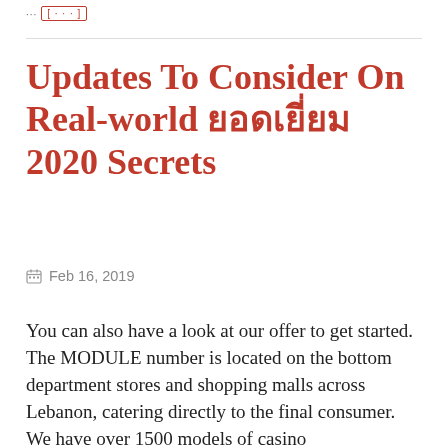... [ ... ]
Updates To Consider On Real-world ยอดเยี่ยม 2020 Secrets
Feb 16, 2019
You can also have a look at our offer to get started. The MODULE number is located on the bottom department stores and shopping malls across Lebanon, catering directly to the final consumer. We have over 1500 models of casino